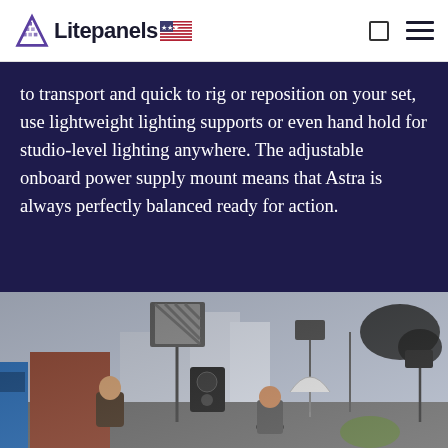Litepanels [US flag]
to transport and quick to rig or reposition on your set, use lightweight lighting supports or even hand hold for studio-level lighting anywhere. The adjustable onboard power supply mount means that Astra is always perfectly balanced ready for action.
[Figure (photo): Outdoor film/TV production set showing studio lighting panels on stands, camera equipment, crew members, and city background.]